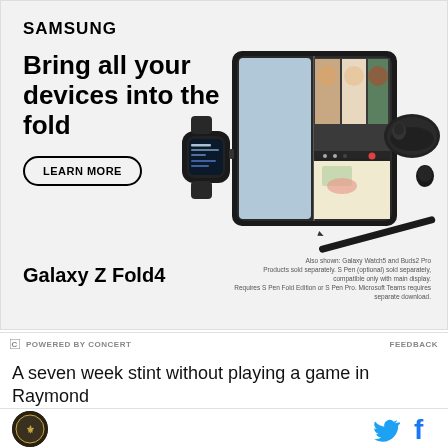[Figure (photo): Samsung advertisement for Galaxy Z Fold4 showing the phone, Galaxy Watch5, Buds2 Pro, and S Pen. Headline: Bring all your devices into the fold. LEARN MORE button. Also shown: Galaxy Watch5 and Buds2 Pro disclaimer text.]
POWERED BY CONCERT   FEEDBACK
A seven week stint without playing a game in Raymond
[Figure (logo): Circular dark site logo icon]
[Figure (logo): Twitter bird icon and Facebook f icon]